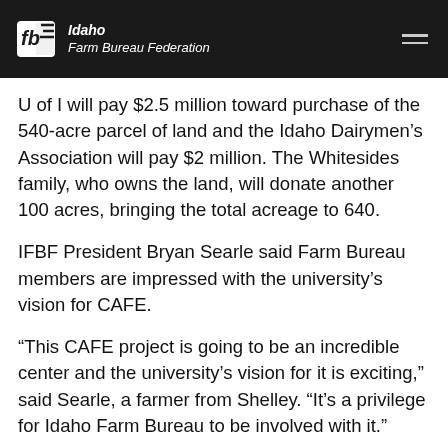Idaho Farm Bureau Federation
U of I will pay $2.5 million toward purchase of the 540-acre parcel of land and the Idaho Dairymen's Association will pay $2 million. The Whitesides family, who owns the land, will donate another 100 acres, bringing the total acreage to 640.
IFBF President Bryan Searle said Farm Bureau members are impressed with the university's vision for CAFE.
“This CAFE project is going to be an incredible center and the university’s vision for it is exciting,” said Searle, a farmer from Shelley. “It’s a privilege for Idaho Farm Bureau to be involved with it.”
In a letter of support for the center that Searle sent U of I officials in December, he said, “Projected to be the largest integrated research facility focused on dairy and allied